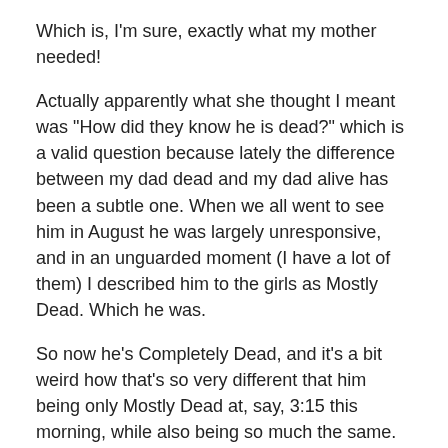Which is, I'm sure, exactly what my mother needed!
Actually apparently what she thought I meant was "How did they know he is dead?" which is a valid question because lately the difference between my dad dead and my dad alive has been a subtle one. When we all went to see him in August he was largely unresponsive, and in an unguarded moment (I have a lot of them) I described him to the girls as Mostly Dead. Which he was.
So now he's Completely Dead, and it's a bit weird how that's so very different that him being only Mostly Dead at, say, 3:15 this morning, while also being so much the same. My brother and I and probably my Mum are having trouble with this state change, this passing from being Mostly Mourning to Completely Mourning.
Right now the girls are with their Baba and I suppose I should be doing grown-up things like getting a flight home, but really I just feel like baking a giant batch of cookies and